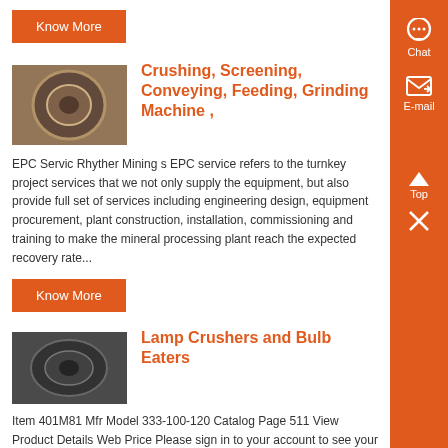[Figure (other): Orange Know More button at top]
[Figure (photo): Photo of crushing/grinding machine part - circular metallic component]
Crushing, Screening, Conveying, Feeding, Grinding Machine ,
EPC Servic Rhyther Mining s EPC service refers to the turnkey project services that we not only supply the equipment, but also provide full set of services including engineering design, equipment procurement, plant construction, installation, commissioning and training to make the mineral processing plant reach the expected recovery rate...
[Figure (other): Orange Know More button]
[Figure (photo): Photo of lamp crusher / bulb eater device - circular metal component]
Lamp Crushers and Bulb Eaters
Item 401M81 Mfr Model 333-100-120 Catalog Page 511 View Product Details Web Price Please sign in to your account to see your pricing, which may be different from the price displayed Primary Category Lighting Bulb and